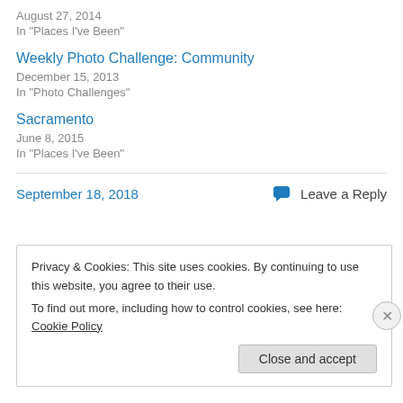August 27, 2014
In "Places I've Been"
Weekly Photo Challenge: Community
December 15, 2013
In "Photo Challenges"
Sacramento
June 8, 2015
In "Places I've Been"
September 18, 2018
Leave a Reply
Privacy & Cookies: This site uses cookies. By continuing to use this website, you agree to their use.
To find out more, including how to control cookies, see here: Cookie Policy
Close and accept